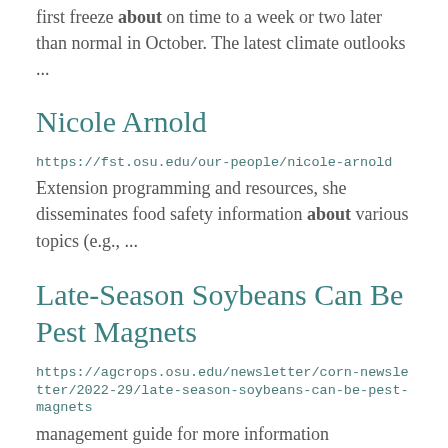first freeze about on time to a week or two later than normal in October. The latest climate outlooks ...
Nicole Arnold
https://fst.osu.edu/our-people/nicole-arnold
Extension programming and resources, she disseminates food safety information about various topics (e.g., ...
Late-Season Soybeans Can Be Pest Magnets
https://agcrops.osu.edu/newsletter/corn-newsletter/2022-29/late-season-soybeans-can-be-pest-magnets
management guide for more information